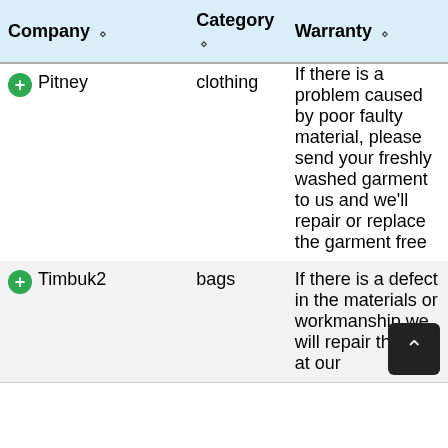| Company | Category | Warranty |
| --- | --- | --- |
| Pitney | clothing | If there is a problem caused by poor faulty material, please send your freshly washed garment to us and we'll repair or replace the garment free |
| Timbuk2 | bags | If there is a defect in the materials or workmanship we will repair the bag at our |